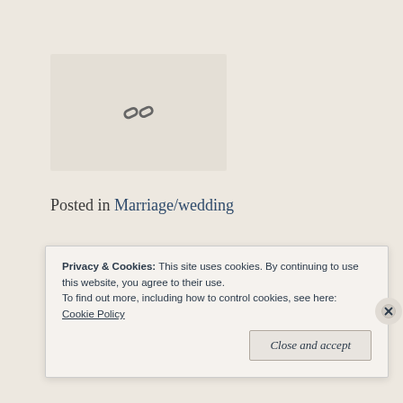[Figure (other): Placeholder box with a chain/link icon]
Posted in Marriage/wedding
← What if Money was No Object?
Privacy & Cookies: This site uses cookies. By continuing to use this website, you agree to their use.
To find out more, including how to control cookies, see here: Cookie Policy
Close and accept